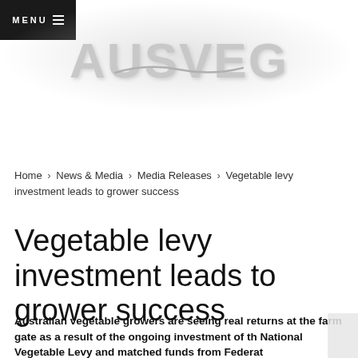[Figure (logo): AUSVEG logo in large grey text with decorative swish underneath, displayed on a light radial gradient background]
MENU ☰
Home › News & Media › Media Releases › Vegetable levy investment leads to grower success
Vegetable levy investment leads to grower success
Australian vegetable growers are seeing real returns at the farm gate as a result of the ongoing investment of the National Vegetable Levy and matched funds from Federal